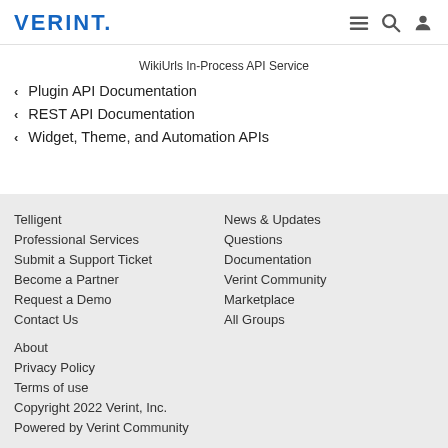VERINT.
WikiUrls In-Process API Service
> Plugin API Documentation
> REST API Documentation
> Widget, Theme, and Automation APIs
Telligent | Professional Services | Submit a Support Ticket | Become a Partner | Request a Demo | Contact Us | News & Updates | Questions | Documentation | Verint Community | Marketplace | All Groups | About | Privacy Policy | Terms of use | Copyright 2022 Verint, Inc. | Powered by Verint Community